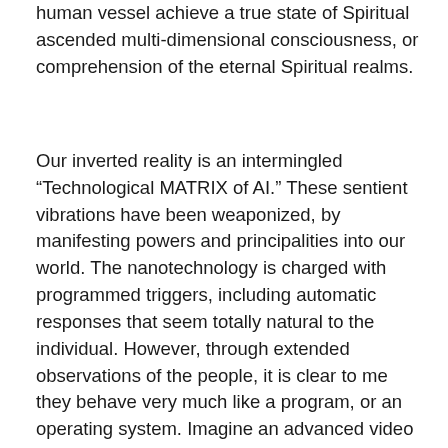human vessel achieve a true state of Spiritual ascended multi-dimensional consciousness, or comprehension of the eternal Spiritual realms.
Our inverted reality is an intermingled “Technological MATRIX of AI.” These sentient vibrations have been weaponized, by manifesting powers and principalities into our world. The nanotechnology is charged with programmed triggers, including automatic responses that seem totally natural to the individual. However, through extended observations of the people, it is clear to me they behave very much like a program, or an operating system. Imagine an advanced video game that requires you to talk with certain programmed characters. They are there to help you or maybe hurt you depending on how they are approached. These programmed characters will give you